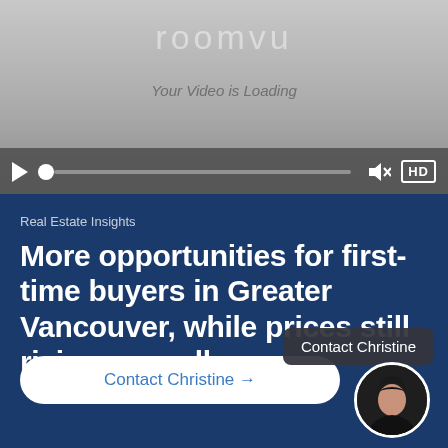[Figure (screenshot): roomvu video player loading screen with gray gradient background, logo text 'roomvu', 'Your Video is Loading' text, and playback controls bar with play button, progress track, mute icon, and HD badge]
Real Estate Insights
More opportunities for first-time buyers in Greater Vancouver, while prices still rising annually
Contact Christine →
Contact Christine
[Figure (photo): Circular avatar photo of a woman with dark hair against dark background]